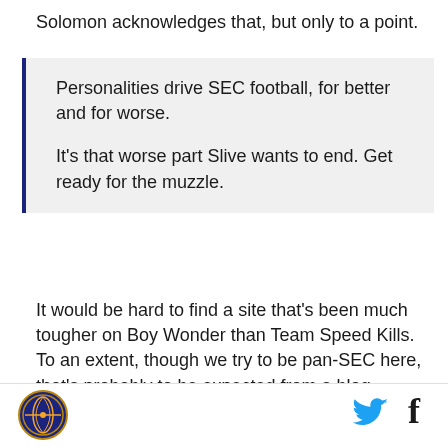Solomon acknowledges that, but only to a point.
Personalities drive SEC football, for better and for worse.

It's that worse part Slive wants to end. Get ready for the muzzle.
It would be hard to find a site that's been much tougher on Boy Wonder than Team Speed Kills. To an extent, though we try to be pan-SEC here, that's probably to be expected from a blog written largely by a South Carolina fan and a Florida fan. But the "Urban still couldn't get him," the "pumping gas" and the war with Dabslee have been fun if nothing else. They've
[Figure (logo): Circular logo with orange/gold symbol on dark blue background, bottom left footer]
[Figure (logo): Twitter bird icon in blue, bottom right footer]
[Figure (logo): Facebook 'f' icon in dark, bottom right footer]